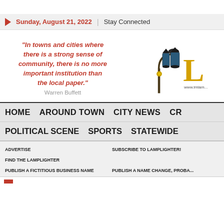Sunday, August 21, 2022 | Stay Connected
“In towns and cities where there is a strong sense of community, there is no more important institution than the local paper.” Warren Buffett
[Figure (logo): Lamplighter newspaper logo with street lamp illustration and gothic letter L, www.lmlam...]
HOME   AROUND TOWN   CITY NEWS   CR...
POLITICAL SCENE   SPORTS   STATEWIDE
ADVERTISE
FIND THE LAMPLIGHTER
SUBSCRIBE TO LAMPLIGHTER!
PUBLISH A FICTITIOUS BUSINESS NAME
PUBLISH A NAME CHANGE, PROBA...